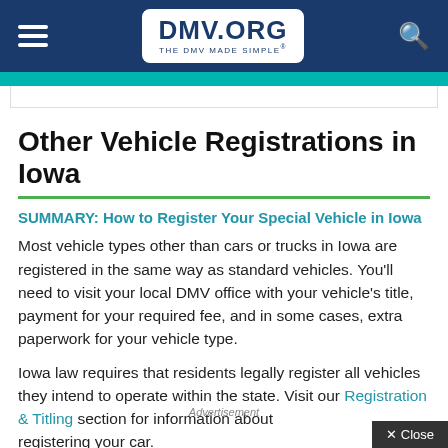DMV.ORG — THE DMV MADE SIMPLE
Other Vehicle Registrations in Iowa
SUMMARY: How to Register Your Special Vehicle in Iowa
Most vehicle types other than cars or trucks in Iowa are registered in the same way as standard vehicles. You'll need to visit your local DMV office with your vehicle's title, payment for your required fee, and in some cases, extra paperwork for your vehicle type.
Iowa law requires that residents legally register all vehicles they intend to operate within the state. Visit our Registration & Titling section for information about registering your car.